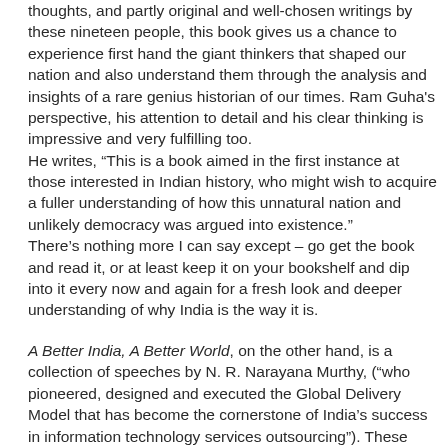thoughts, and partly original and well-chosen writings by these nineteen people, this book gives us a chance to experience first hand the giant thinkers that shaped our nation and also understand them through the analysis and insights of a rare genius historian of our times. Ram Guha's perspective, his attention to detail and his clear thinking is impressive and very fulfilling too.
He writes, “This is a book aimed in the first instance at those interested in Indian history, who might wish to acquire a fuller understanding of how this unnatural nation and unlikely democracy was argued into existence.”
There’s nothing more I can say except – go get the book and read it, or at least keep it on your bookshelf and dip into it every now and again for a fresh look and deeper understanding of why India is the way it is.
A Better India, A Better World, on the other hand, is a collection of speeches by N. R. Narayana Murthy, ("who pioneered, designed and executed the Global Delivery Model that has become the cornerstone of India’s success in information technology services outsourcing"). These speeches were made in various countries Mr. Murthy